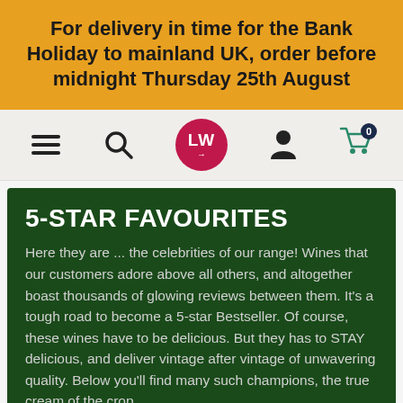For delivery in time for the Bank Holiday to mainland UK, order before midnight Thursday 25th August
[Figure (screenshot): Navigation bar with hamburger menu icon, search icon, LW logo (red circle), user account icon, and shopping cart icon with badge showing 0]
5-STAR FAVOURITES
Here they are ... the celebrities of our range! Wines that our customers adore above all others, and altogether boast thousands of glowing reviews between them. It's a tough road to become a 5-star Bestseller. Of course, these wines have to be delicious. But they has to STAY delicious, and deliver vintage after vintage of unwavering quality. Below you'll find many such champions, the true cream of the crop.
You've selected
Chat with Vinny